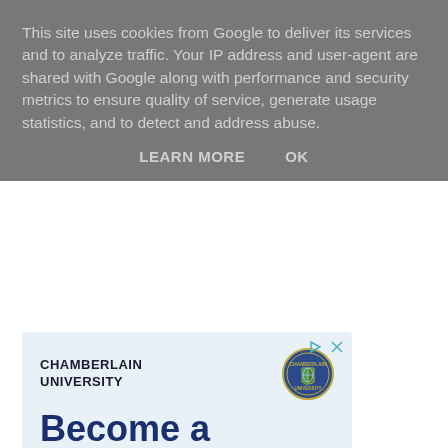This site uses cookies from Google to deliver its services and to analyze traffic. Your IP address and user-agent are shared with Google along with performance and security metrics to ensure quality of service, generate usage statistics, and to detect and address abuse.
LEARN MORE   OK
[Figure (other): Chamberlain University advertisement with university name, logo seal, and text 'Become a Leader in Your Field' on light blue background]